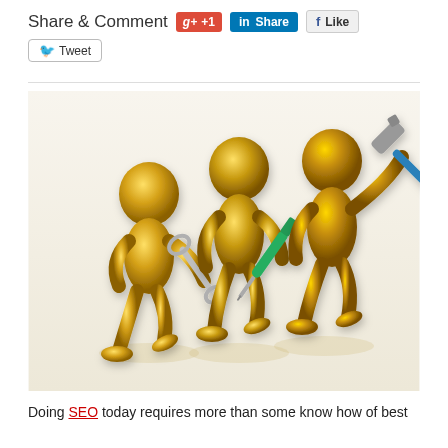Share & Comment
[Figure (illustration): Three golden 3D figures marching in a line, each holding a tool: a wrench, a screwdriver, and a hammer.]
Doing SEO today requires more than some know how of best